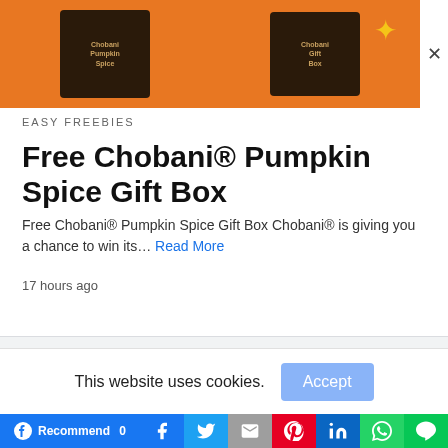[Figure (photo): Orange advertisement banner showing two dark Chobani product boxes on orange background with a gold star sparkle, with an X close button on the right side]
EASY FREEBIES
Free Chobani® Pumpkin Spice Gift Box
Free Chobani® Pumpkin Spice Gift Box Chobani® is giving you a chance to win its… Read More
17 hours ago
This website uses cookies.
[Figure (screenshot): Partial browser bottom bar with blue outline visible]
Recommend 0
[Figure (infographic): Social sharing bar with Facebook Recommend, Facebook, Twitter, Gmail, Pinterest, LinkedIn, WhatsApp, and LINE buttons]